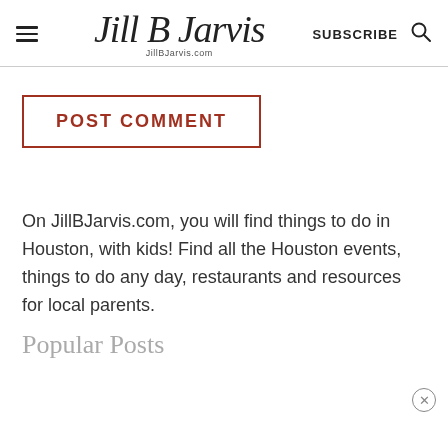Jill B Jarvis — JillBJarvis.com — SUBSCRIBE
POST COMMENT
On JillBJarvis.com, you will find things to do in Houston, with kids! Find all the Houston events, things to do any day, restaurants and resources for local parents.
Popular Posts